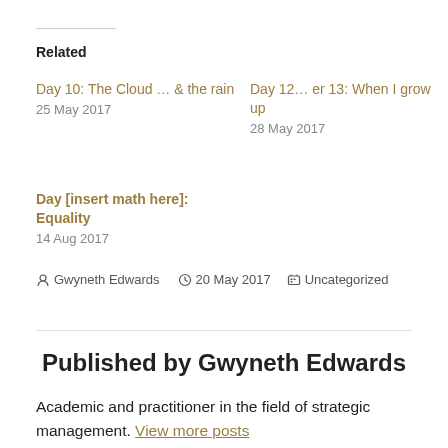Related
Day 10: The Cloud … & the rain
25 May 2017
Day 12… er 13: When I grow up
28 May 2017
Day [insert math here]: Equality
14 Aug 2017
Gwyneth Edwards  20 May 2017  Uncategorized
Published by Gwyneth Edwards
Academic and practitioner in the field of strategic management. View more posts